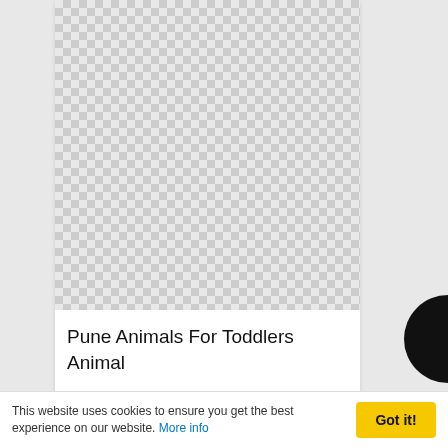[Figure (other): Checkerboard placeholder image for Pune Animals For Toddlers Animal]
Pune Animals For Toddlers Animal
[Figure (other): Checkerboard placeholder image for second card]
This website uses cookies to ensure you get the best experience on our website. More info